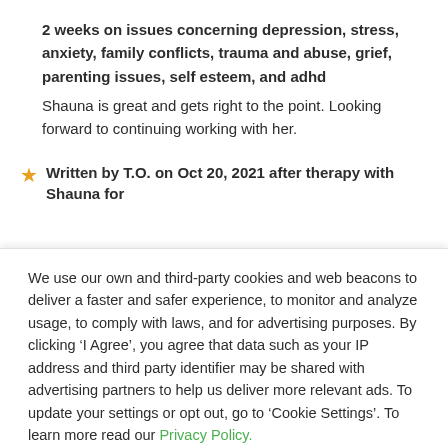2 weeks on issues concerning depression, stress, anxiety, family conflicts, trauma and abuse, grief, parenting issues, self esteem, and adhd
Shauna is great and gets right to the point. Looking forward to continuing working with her.
Written by T.O. on Oct 20, 2021 after therapy with Shauna for
We use our own and third-party cookies and web beacons to deliver a faster and safer experience, to monitor and analyze usage, to comply with laws, and for advertising purposes. By clicking ‘I Agree’, you agree that data such as your IP address and third party identifier may be shared with advertising partners to help us deliver more relevant ads. To update your settings or opt out, go to ‘Cookie Settings’. To learn more read our Privacy Policy.
Cookie Settings
I Agree